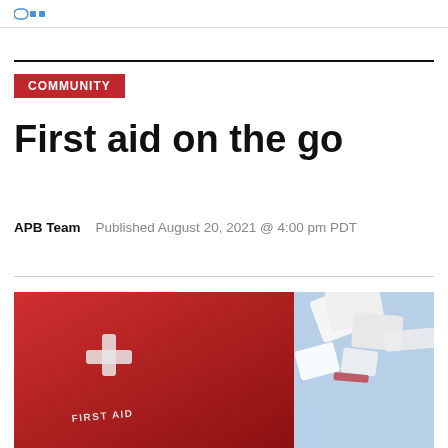COMMUNITY
First aid on the go
APB Team   Published August 20, 2021 @ 4:00 pm PDT
[Figure (photo): Close-up photo of a red first aid bag with a white cross emblem and 'FIRST AID' text, alongside medical supplies including bandages against a light blue sky background]